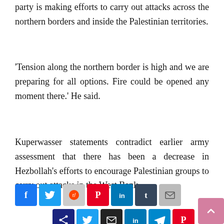party is making efforts to carry out attacks across the northern borders and inside the Palestinian territories.
'Tension along the northern border is high and we are preparing for all options. Fire could be opened any moment there.' He said.
Kuperwasser statements contradict earlier army assessment that there has been a decrease in Hezbollah's efforts to encourage Palestinian groups to carry out attacks in the West Bank.
[Figure (other): Social media share buttons: Facebook, Twitter, Reddit, Pinterest, LinkedIn, Tumblr, Email, and a second row of share icons (share, twitter, email, linkedin, telegram, pinterest), plus a scroll-to-top button.]